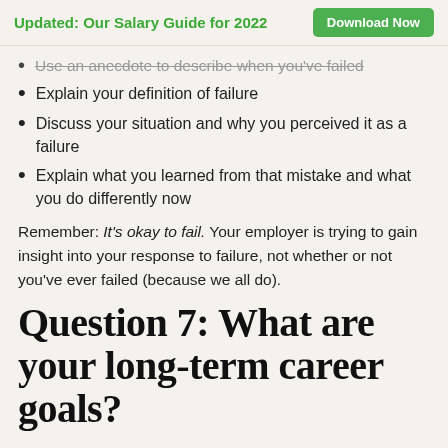Updated: Our Salary Guide for 2022  Download Now
Use an anecdote to describe when you've failed
Explain your definition of failure
Discuss your situation and why you perceived it as a failure
Explain what you learned from that mistake and what you do differently now
Remember: It’s okay to fail. Your employer is trying to gain insight into your response to failure, not whether or not you’ve ever failed (because we all do).
Question 7: What are your long-term career goals?